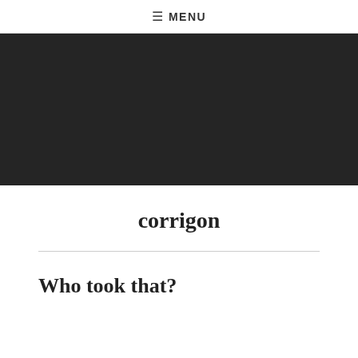≡ MENU
[Figure (photo): Dark/black banner image area]
corrigon
Who took that?